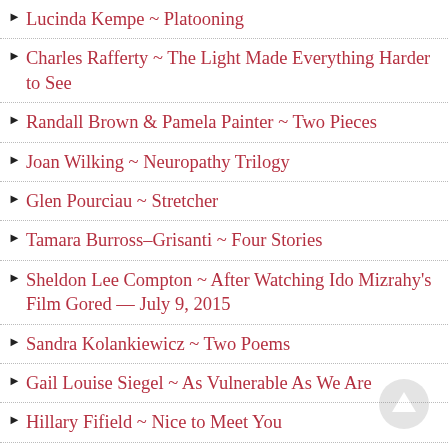Lucinda Kempe ~ Platooning
Charles Rafferty ~ The Light Made Everything Harder to See
Randall Brown & Pamela Painter ~ Two Pieces
Joan Wilking ~ Neuropathy Trilogy
Glen Pourciau ~ Stretcher
Tamara Burross-Grisanti ~ Four Stories
Sheldon Lee Compton ~ After Watching Ido Mizrahy's Film Gored — July 9, 2015
Sandra Kolankiewicz ~ Two Poems
Gail Louise Siegel ~ As Vulnerable As We Are
Hillary Fifield ~ Nice to Meet You
David Gilbert ~ Stupa
M... L... ~ All the Stones Gates of the World...